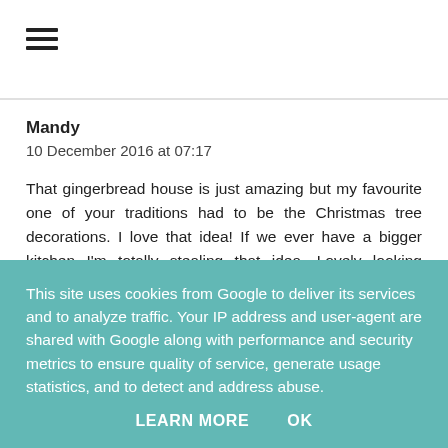≡
Mandy
10 December 2016 at 07:17
That gingerbread house is just amazing but my favourite one of your traditions had to be the Christmas tree decorations. I love that idea! If we ever have a bigger kitchen I'm totally stealing that idea. Lovely looking cocktail too -bringing advocaat into the 21st century! Thanks for adding to #CookBlogShare
This site uses cookies from Google to deliver its services and to analyze traffic. Your IP address and user-agent are shared with Google along with performance and security metrics to ensure quality of service, generate usage statistics, and to detect and address abuse.
LEARN MORE   OK